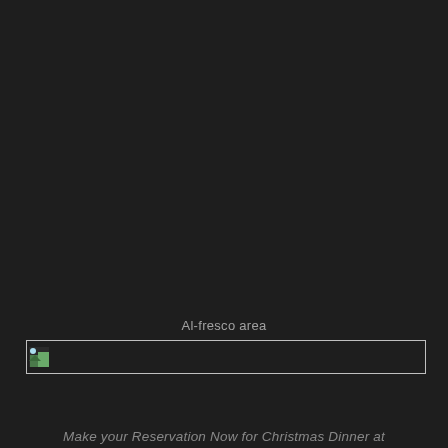Al-fresco area
[Figure (photo): Broken/unloaded image placeholder with thin white border rectangle, representing an al-fresco area photo]
Make your Reservation Now for Christmas Dinner at